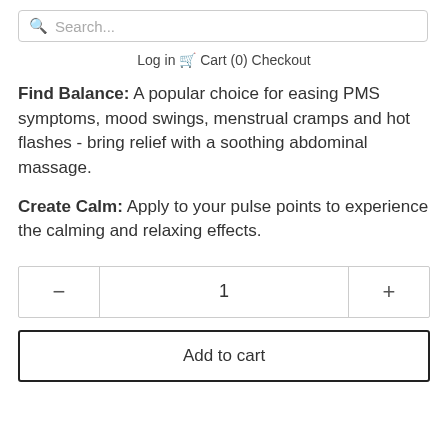Search...
Log in   Cart (0)   Checkout
Find Balance: A popular choice for easing PMS symptoms, mood swings, menstrual cramps and hot flashes - bring relief with a soothing abdominal massage.
Create Calm: Apply to your pulse points to experience the calming and relaxing effects.
— 1 +
Add to cart